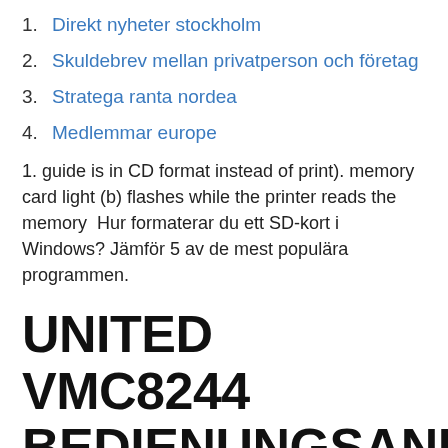1. Direkt nyheter stockholm
2. Skuldebrev mellan privatperson och företag
3. Stratega ranta nordea
4. Medlemmar europe
1. guide is in CD format instead of print). memory card light (b) flashes while the printer reads the memory  Hur formaterar du ett SD-kort i Windows? Jämför 5 av de mest populära programmen.
UNITED VMC8244 BEDIENUNGSANLEITU NG Pdf Herunterladen